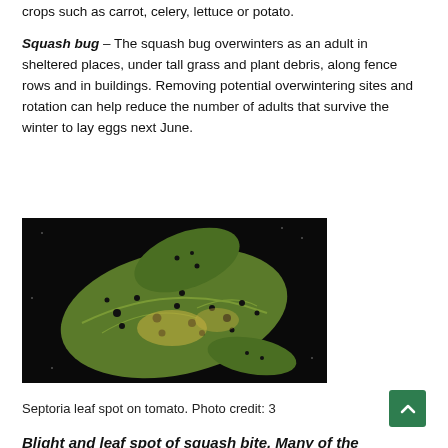crops such as carrot, celery, lettuce or potato.
Squash bug – The squash bug overwinters as an adult in sheltered places, under tall grass and plant debris, along fence rows and in buildings. Removing potential overwintering sites and rotation can help reduce the number of adults that survive the winter to lay eggs next June.
[Figure (photo): Photograph of tomato leaves with Septoria leaf spot disease — green leaves showing numerous small dark spots and yellowing areas against a black background.]
Septoria leaf spot on tomato. Photo credit: 3
Blight and leaf spot of squash bite. Many of the